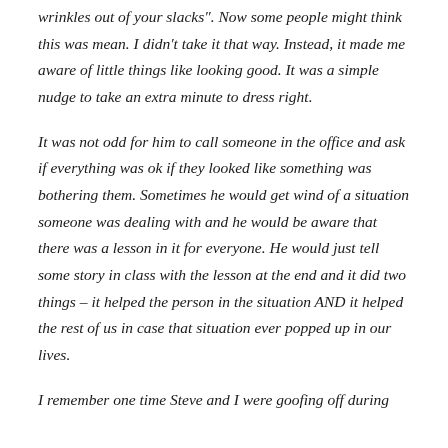wrinkles out of your slacks". Now some people might think this was mean. I didn't take it that way. Instead, it made me aware of little things like looking good. It was a simple nudge to take an extra minute to dress right.
It was not odd for him to call someone in the office and ask if everything was ok if they looked like something was bothering them. Sometimes he would get wind of a situation someone was dealing with and he would be aware that there was a lesson in it for everyone. He would just tell some story in class with the lesson at the end and it did two things – it helped the person in the situation AND it helped the rest of us in case that situation ever popped up in our lives.
I remember one time Steve and I were goofing off during